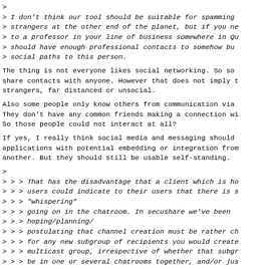> I don't think our tool should be suitable for spamming
> strangers at the other end of the planet, but if you ne
> to a professor in your line of business somewhere in Qu
> should have enough professional contacts to somehow bu
> social paths to this person.
The thing is not everyone likes social networking. So so
share contacts with anyone. However that does not imply t
strangers, far distanced or unsocial.
Also some people only know others from communication via
They don't have any common friends making a connection wi
So those people could not interact at all?
If yes, I really think social media and messaging should
applications with potential embedding or integration from
another. But they should still be usable self-standing.
>
> > > That has the disadvantage that a client which is ho
> > > users could indicate to their users that there is s
> > > "whispering"
> > > going on in the chatroom. In secushare we've been
> > > hoping/planning/
> > > postulating that channel creation must be rather ch
> > > for any new subgroup of recipients you would create
> > > multicast group, irrespective of whether that subgr
> > > be in one or several chatrooms together, and/or jus
> > > share a certain view of somebody's social profile a